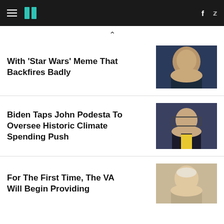HuffPost navigation with hamburger menu, logo, Facebook and Twitter icons
With 'Star Wars' Meme That Backfires Badly
[Figure (photo): Close-up photo of a smiling older man in a dark jacket]
Biden Taps John Podesta To Oversee Historic Climate Spending Push
[Figure (photo): Photo of John Podesta in a dark suit with yellow tie, gesturing with both hands raised]
For The First Time, The VA Will Begin Providing
[Figure (photo): Photo of an older man with white hair]